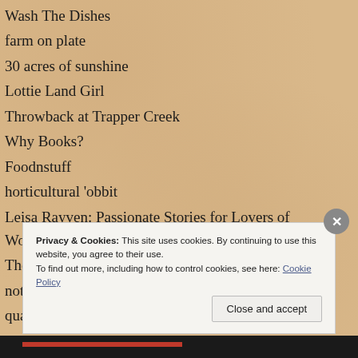Wash The Dishes
farm on plate
30 acres of sunshine
Lottie Land Girl
Throwback at Trapper Creek
Why Books?
Foodnstuff
horticultural 'obbit
Leisa Rayven: Passionate Stories for Lovers of Words
The Self Sufficient HomeAcre
not just greenfingers
quarteracrelifestyle
Gardener Jen
Privacy & Cookies: This site uses cookies. By continuing to use this website, you agree to their use. To find out more, including how to control cookies, see here: Cookie Policy
Close and accept